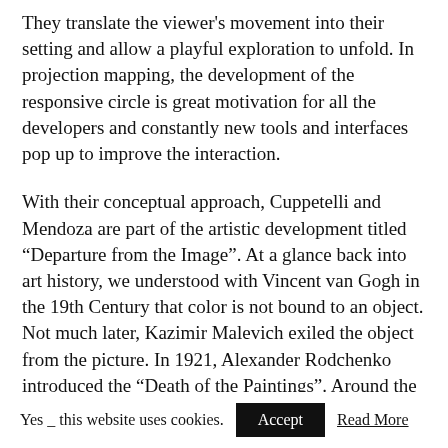They translate the viewer's movement into their setting and allow a playful exploration to unfold. In projection mapping, the development of the responsive circle is great motivation for all the developers and constantly new tools and interfaces pop up to improve the interaction.
With their conceptual approach, Cuppetelli and Mendoza are part of the artistic development titled “Departure from the Image”. At a glance back into art history, we understood with Vincent van Gogh in the 19th Century that color is not bound to an object. Not much later, Kazimir Malevich exiled the object from the picture. In 1921, Alexander Rodchenko introduced the “Death of the Paintings”. Around the same time, in 1913,
Yes _ this website uses cookies.  Accept  Read More